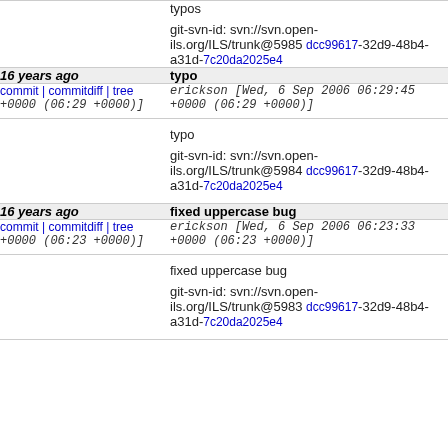|  | typos

git-svn-id: svn://svn.open-ils.org/ILS/trunk@5985 dcc99617-32d9-48b4-a31d-7c20da2025e4 |
| 16 years ago | typo |
| commit | commitdiff | tree +0000 (06:29 +0000)] | erickson [Wed, 6 Sep 2006 06:29:45 +0000 (06:29 +0000)] |
|  | typo

git-svn-id: svn://svn.open-ils.org/ILS/trunk@5984 dcc99617-32d9-48b4-a31d-7c20da2025e4 |
| 16 years ago | fixed uppercase bug |
| commit | commitdiff | tree +0000 (06:23 +0000)] | erickson [Wed, 6 Sep 2006 06:23:33 +0000 (06:23 +0000)] |
|  | fixed uppercase bug

git-svn-id: svn://svn.open-ils.org/ILS/trunk@5983 dcc99617-32d9-48b4-a31d-7c20da2025e4 |